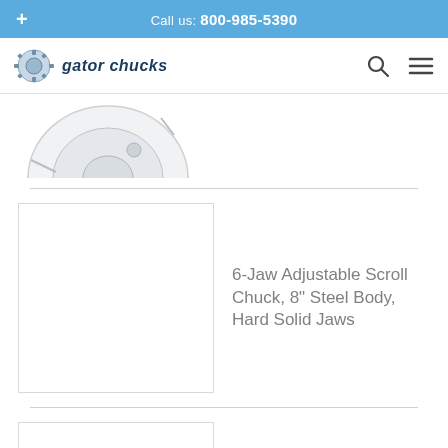Call us: 800-985-5390
[Figure (logo): Gator Chucks logo with stylized text and machinery graphic]
[Figure (photo): Partial view of a scroll chuck product image (top portion cut off)]
6-Jaw Adjustable Scroll Chuck, 8" Steel Body, Hard Solid Jaws
[Figure (photo): Product image placeholder box for 6-Jaw Adjustable Scroll Chuck, 25" Steel Body]
6-Jaw Adjustable Scroll Chuck, 25" Steel Body, 2